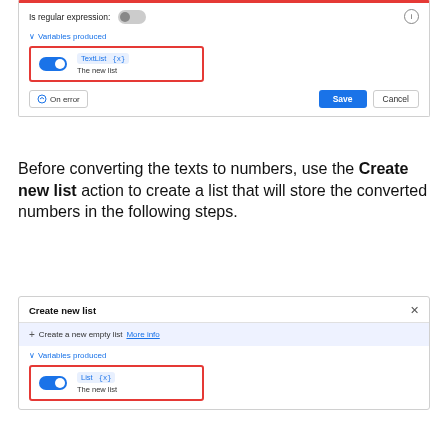[Figure (screenshot): Dialog box showing 'Is regular expression' toggle (off) with info icon, Variables produced section with blue toggle (on) and TextList {x} variable tag showing 'The new list', and buttons: On error, Save, Cancel at the bottom. The variable box is highlighted with a red border.]
Before converting the texts to numbers, use the Create new list action to create a list that will store the converted numbers in the following steps.
[Figure (screenshot): Dialog box titled 'Create new list' with a close X button, a blue banner row with '+ Create a new empty list More info', Variables produced section with blue toggle (on) and List {x} variable tag showing 'The new list'. The variable box is highlighted with a red border.]